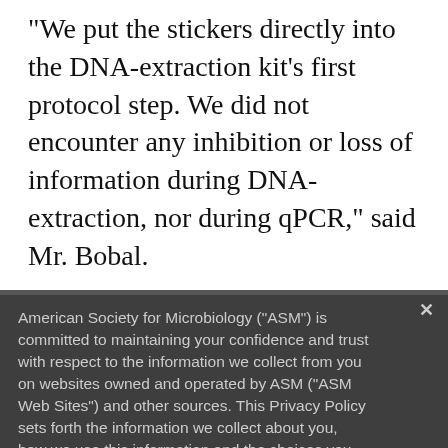“We put the stickers directly into the DNA-extraction kit’s first protocol step. We did not encounter any inhibition or loss of information during DNA-extraction, nor during qPCR,” said Mr. Bobal.
###
American Society for Microbiology (“ASM”) is committed to maintaining your confidence and trust with respect to the information we collect from you on websites owned and operated by ASM (“ASM Web Sites”) and other sources. This Privacy Policy sets forth the information we collect about you, how we use this information and the choices you have about how we use such information. Find out more here.
ASM advances the microbial sciences through conferences, publications, certifications and educational opportunities. It